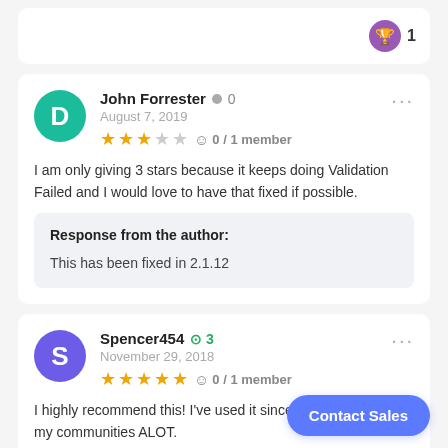[Figure (other): Trophy badge icon with number 1]
John Forrester  0
August 7, 2019
★★★☆☆  0 / 1 member
I am only giving 3 stars because it keeps doing Validation Failed and I would love to have that fixed if possible.
Response from the author:
This has been fixed in 2.1.12
Spencer454  3
November 29, 2018
★★★★★  0 / 1 member
I highly recommend this! I've used it since it's helped me and my communities ALOT.
Contact Sales